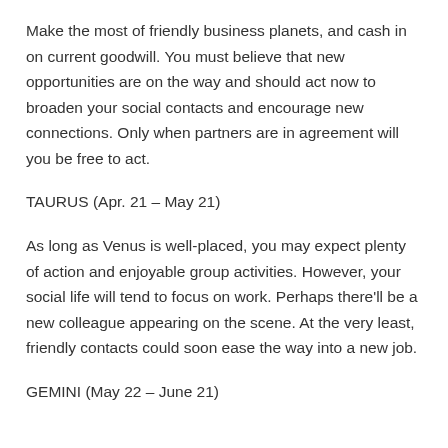Make the most of friendly business planets, and cash in on current goodwill. You must believe that new opportunities are on the way and should act now to broaden your social contacts and encourage new connections. Only when partners are in agreement will you be free to act.
TAURUS (Apr. 21 – May 21)
As long as Venus is well-placed, you may expect plenty of action and enjoyable group activities. However, your social life will tend to focus on work. Perhaps there'll be a new colleague appearing on the scene. At the very least, friendly contacts could soon ease the way into a new job.
GEMINI (May 22 – June 21)